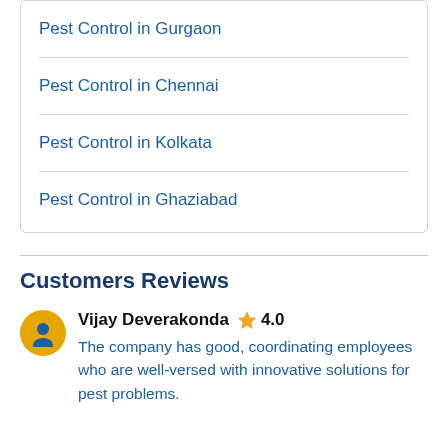Pest Control in Gurgaon
Pest Control in Chennai
Pest Control in Kolkata
Pest Control in Ghaziabad
Customers Reviews
Vijay Deverakonda ⭐ 4.0
The company has good, coordinating employees who are well-versed with innovative solutions for pest problems.